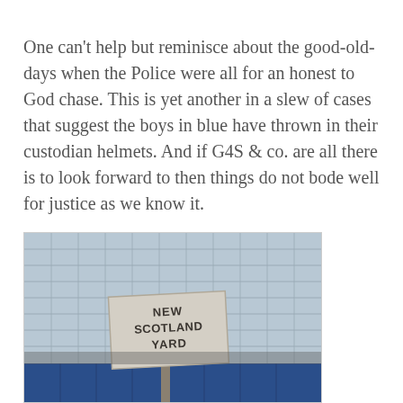One can't help but reminisce about the good-old-days when the Police were all for an honest to God chase. This is yet another in a slew of cases that suggest the boys in blue have thrown in their custodian helmets. And if G4S & co. are all there is to look forward to then things do not bode well for justice as we know it.
[Figure (photo): Photo of the New Scotland Yard sign in front of a glass-facade building with blue hoarding at the base.]